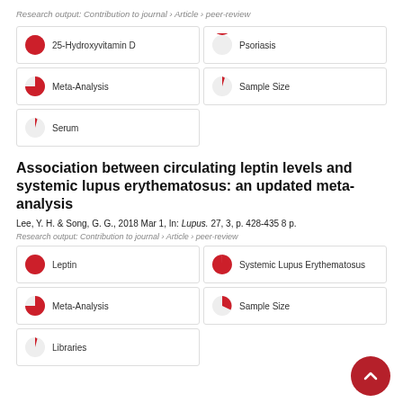Research output: Contribution to journal › Article › peer-review
[Figure (other): Keyword badges grid: 25-Hydroxyvitamin D (100%), Psoriasis (95%), Meta-Analysis (70%), Sample Size (10%), Serum (10%)]
Association between circulating leptin levels and systemic lupus erythematosus: an updated meta-analysis
Lee, Y. H. & Song, G. G., 2018 Mar 1, In: Lupus. 27, 3, p. 428-435 8 p.
Research output: Contribution to journal › Article › peer-review
[Figure (other): Keyword badges grid: Leptin (100%), Systemic Lupus Erythematosus (95%), Meta-Analysis (75%), Sample Size (30%), Libraries (10%)]